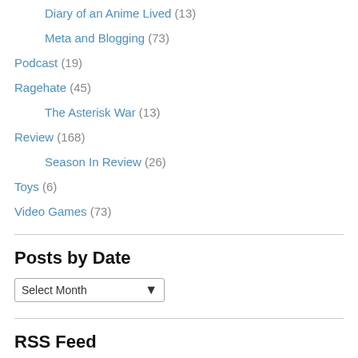Diary of an Anime Lived (13)
Meta and Blogging (73)
Podcast (19)
Ragehate (45)
The Asterisk War (13)
Review (168)
Season In Review (26)
Toys (6)
Video Games (73)
Posts by Date
Select Month
RSS Feed
RSS - Posts
RSS - Comments